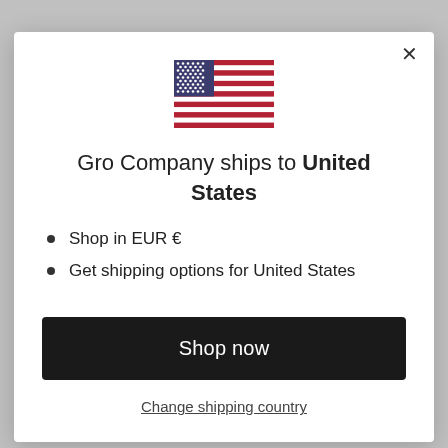[Figure (illustration): US flag emoji/illustration shown centered at top of modal dialog]
Gro Company ships to United States
Shop in EUR €
Get shipping options for United States
Shop now
Change shipping country
Payment Information
Shipping Information